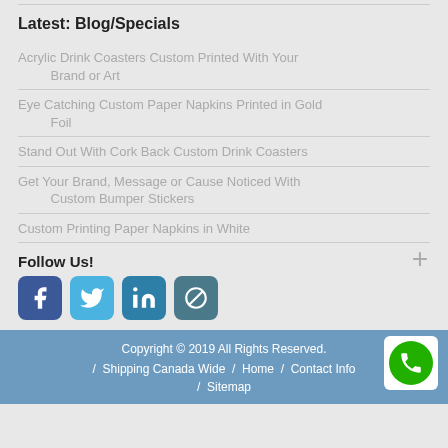Latest: Blog/Specials
Acrylic Drink Coasters Custom Printed With Your Brand or Art
Eye Catching Custom Paper Napkins Printed in Gold Foil
Stand Out With Cork Back Custom Drink Coasters
Get Your Brand, Message or Cause Noticed With Custom Bumper Stickers
Custom Printing Paper Napkins in White
Follow Us!
[Figure (infographic): Social media icons: Facebook, Twitter, LinkedIn, Email]
Copyright © 2019 All Rights Reserved. / Shipping Canada Wide / Home / Contact Info / Sitemap